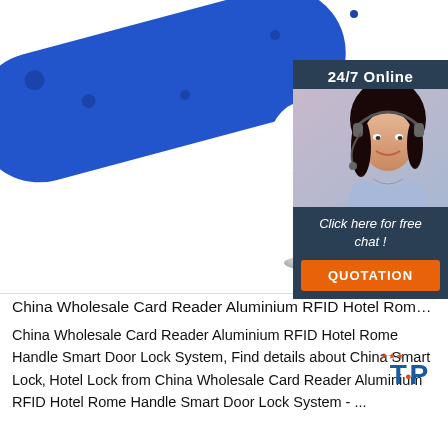[Figure (photo): Close-up product photo of a blue RFID tag/fob with metal pin and white ball, alongside a customer service chat widget showing a female agent with headset, '24/7 Online' banner, 'Click here for free chat!' CTA, and orange QUOTATION button]
China Wholesale Card Reader Aluminium RFID Hotel Rome ...
China Wholesale Card Reader Aluminium RFID Hotel Rome Handle Smart Door Lock System, Find details about China Smart Lock, Hotel Lock from China Wholesale Card Reader Aluminium RFID Hotel Rome Handle Smart Door Lock System - ...